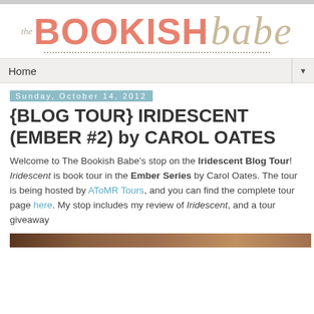[Figure (logo): The Bookish Babe blog logo with decorative dotted line underneath]
Home
Sunday, October 14, 2012
{BLOG TOUR} IRIDESCENT (EMBER #2) by CAROL OATES
Welcome to The Bookish Babe's stop on the Iridescent Blog Tour! Iridescent is book tour in the Ember Series by Carol Oates. The tour is being hosted by AToMR Tours, and you can find the complete tour page here. My stop includes my review of Iridescent, and a tour giveaway
[Figure (photo): Partial image strip at bottom of page, appears to be a book cover or promotional photo]